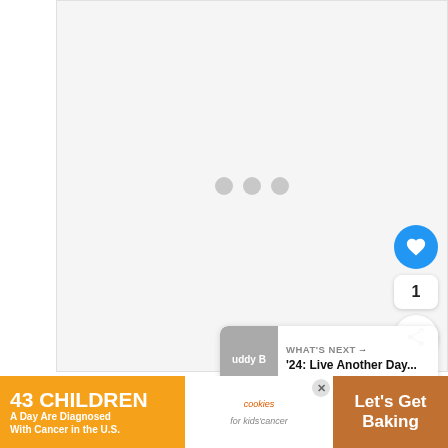[Figure (screenshot): Video player area with light gray background showing three loading dots in the center, a blue heart/like button on the right side, a like count of 1, and a share button below]
WHAT'S NEXT → '24: Live Another Day...
Back in Mapleton, Garvey checks in with his
[Figure (photo): Advertisement banner: 43 CHILDREN A Day Are Diagnosed With Cancer in the U.S. — cookies for kids' cancer — Let's Get Baking]